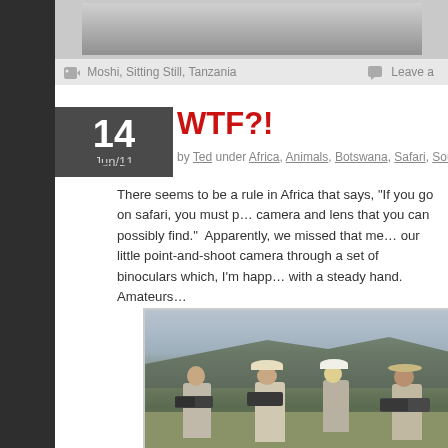[Figure (photo): Top portion of a previous blog post image, partially cropped - appears to be a landscape/travel photo in grayscale]
Moshi, Sitting Still, Tanzania   Leave a
WTF?!
by Ted under Africa, Animals, Botswana, Safari, South Africa, Tanzania, WTF
There seems to be a rule in Africa that says, "If you go on safari, you must p… camera and lens that you can possibly find."  Apparently, we missed that me… our little point-and-shoot camera through a set of binoculars which, I'm happ… with a steady hand.  Amateurs…
[Figure (photo): Group of tourists on safari with large telephoto lenses and cameras, photographing wildlife. Mountain/hill visible in background. Appears to be taken in Africa.]